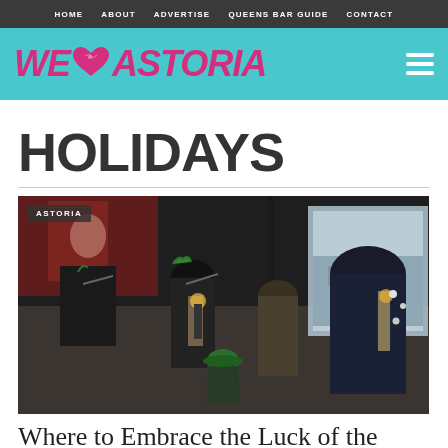HOME  ABOUT  ADVERTISE  QUEENS BAR GUIDE  CONTACT
[Figure (logo): We Heart Astoria logo on teal background with hamburger menu icon]
HOLIDAYS
[Figure (photo): People playing bagpipes in green and black uniforms celebrating St. Patrick's Day inside a bar, with an ASTORIA badge overlay]
Where to Embrace the Luck of the